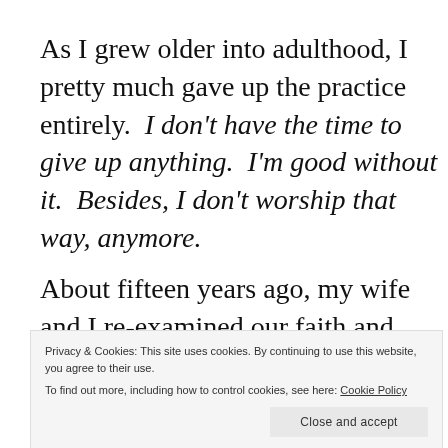As I grew older into adulthood, I pretty much gave up the practice entirely. I don't have the time to give up anything. I'm good without it. Besides, I don't worship that way, anymore.
About fifteen years ago, my wife and I re-examined our faith and were led to a different
Privacy & Cookies: This site uses cookies. By continuing to use this website, you agree to their use. To find out more, including how to control cookies, see here: Cookie Policy
Methodist tradition, and Lent and Easter